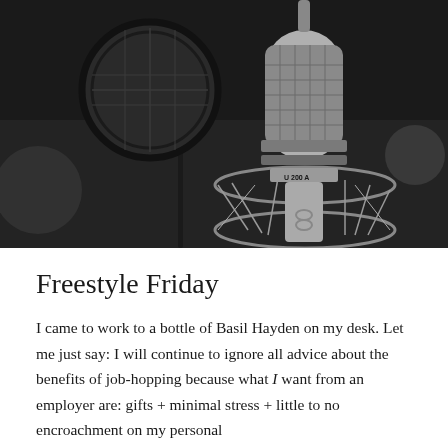[Figure (photo): Black and white close-up photograph of a professional studio condenser microphone (Neumann U 87 style) in a shock mount with a pop filter visible to the left, against a dark blurred studio background.]
Freestyle Friday
I came to work to a bottle of Basil Hayden on my desk. Let me just say: I will continue to ignore all advice about the benefits of job-hopping because what I want from an employer are: gifts + minimal stress + little to no encroachment on my personal